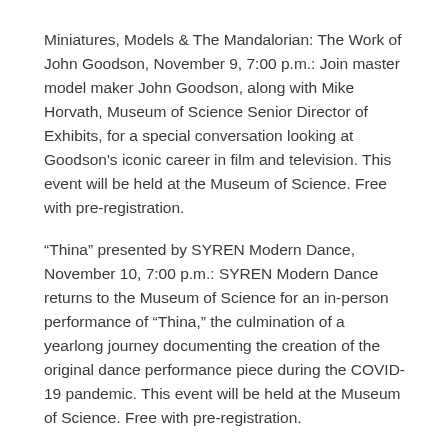Miniatures, Models & The Mandalorian: The Work of John Goodson, November 9, 7:00 p.m.: Join master model maker John Goodson, along with Mike Horvath, Museum of Science Senior Director of Exhibits, for a special conversation looking at Goodson's iconic career in film and television. This event will be held at the Museum of Science. Free with pre-registration.
“Thina” presented by SYREN Modern Dance, November 10, 7:00 p.m.: SYREN Modern Dance returns to the Museum of Science for an in-person performance of “Thina,” the culmination of a yearlong journey documenting the creation of the original dance performance piece during the COVID-19 pandemic. This event will be held at the Museum of Science. Free with pre-registration.
Boston Jewish Film Festival presents Space Torah, November 11, 6:30 p.m.: The Museum is partnering with the Boston Jewish Film Festival for a screening of Space Torah. A conversation with director Rachel Raz and Dr. Jeff Hoffman at the intersection of religion and science follows the screening. This event will be held at the Museum of Science. Free with pre-registration.